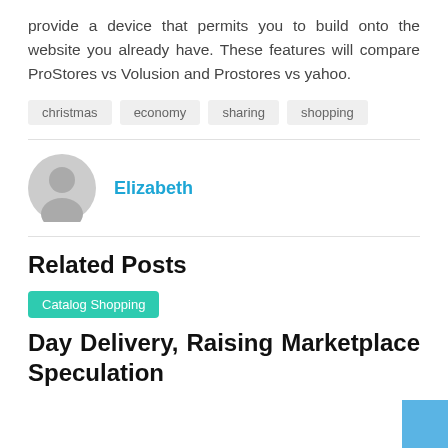provide a device that permits you to build onto the website you already have. These features will compare ProStores vs Volusion and Prostores vs yahoo.
christmas
economy
sharing
shopping
Elizabeth
Related Posts
Catalog Shopping
Day Delivery, Raising Marketplace Speculation